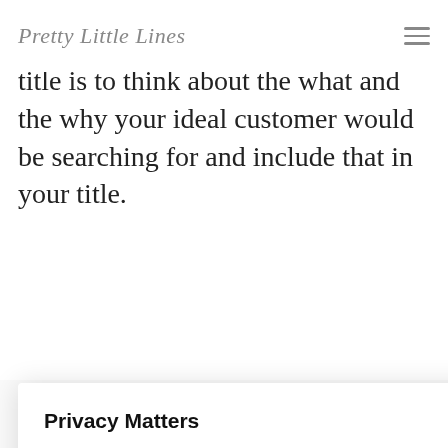Pretty Little Lines
title is to think about the what and the why your ideal customer would be searching for and include that in your title.
Save Your Document Wishlist Main
down on is r ur main ntence duct
Privacy Matters
We use cookies to give you the best experience here by creating content that's most relevant to you. We'll never share the info we collect. If your happy with your cookies, click "Accept All".
Cookie Settings  Accept All